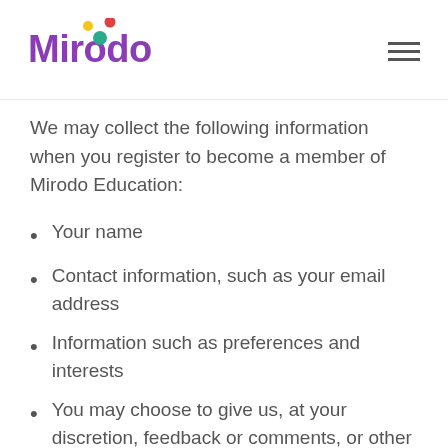Mirodo
We may collect the following information when you register to become a member of Mirodo Education:
Your name
Contact information, such as your email address
Information such as preferences and interests
You may choose to give us, at your discretion, feedback or comments, or other information